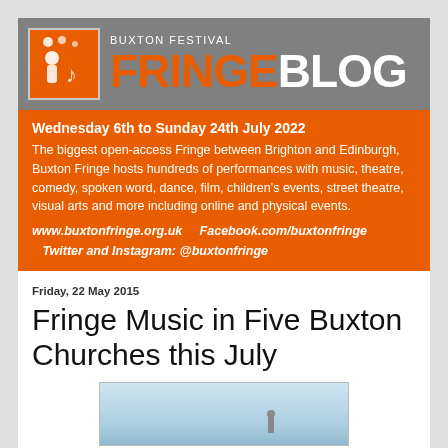[Figure (logo): Buxton Festival Fringe Blog header with orange logo box and grey background, showing FRINGE in orange and BLOG in white large bold text]
Wednesday 6th to Sunday 24th July 2022
The biggest open-access Fringe between Brighton and Edinburgh, Buxton Fringe hosts hundreds of performances with music, theatre, comedy, spoken word, dance, film, children's events, street theatre, visual arts and more including online and physical events.
www.buxtonfringe.org.uk    Facebook.com/buxtonfringe    Twitter and Instagram: @buxtonfringe
Friday, 22 May 2015
Fringe Music in Five Buxton Churches this July
[Figure (photo): Partial photo showing a light blue sky background, beginning to appear at the bottom of the page]